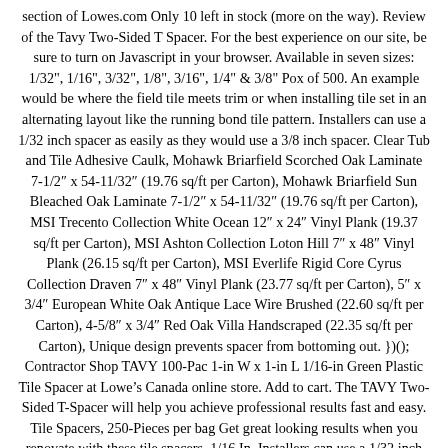section of Lowes.com Only 10 left in stock (more on the way). Review of the Tavy Two-Sided T Spacer. For the best experience on our site, be sure to turn on Javascript in your browser. Available in seven sizes: 1/32", 1/16", 3/32", 1/8", 3/16", 1/4" & 3/8" Pox of 500. An example would be where the field tile meets trim or when installing tile set in an alternating layout like the running bond tile pattern. Installers can use a 1/32 inch spacer as easily as they would use a 3/8 inch spacer. Clear Tub and Tile Adhesive Caulk, Mohawk Briarfield Scorched Oak Laminate 7-1/2″ x 54-11/32″ (19.76 sq/ft per Carton), Mohawk Briarfield Sun Bleached Oak Laminate 7-1/2″ x 54-11/32″ (19.76 sq/ft per Carton), MSI Trecento Collection White Ocean 12″ x 24″ Vinyl Plank (19.37 sq/ft per Carton), MSI Ashton Collection Loton Hill 7″ x 48″ Vinyl Plank (26.15 sq/ft per Carton), MSI Everlife Rigid Core Cyrus Collection Draven 7″ x 48″ Vinyl Plank (23.77 sq/ft per Carton), 5″ x 3/4″ European White Oak Antique Lace Wire Brushed (22.60 sq/ft per Carton), 4-5/8″ x 3/4″ Red Oak Villa Handscraped (22.35 sq/ft per Carton), Unique design prevents spacer from bottoming out. })(); Contractor Shop TAVY 100-Pac 1-in W x 1-in L 1/16-in Green Plastic Tile Spacer at Lowe’s Canada online store. Add to cart. The TAVY Two-Sided T-Spacer will help you achieve professional results fast and easy. Tile Spacers, 250-Pieces per bag Get great looking results when you renovate with these tile spacers. 1/16 In. Installers can use a 1/32 inch spacer as easily as they would use a 3/8 inch spacer. $13.48. Your email address will